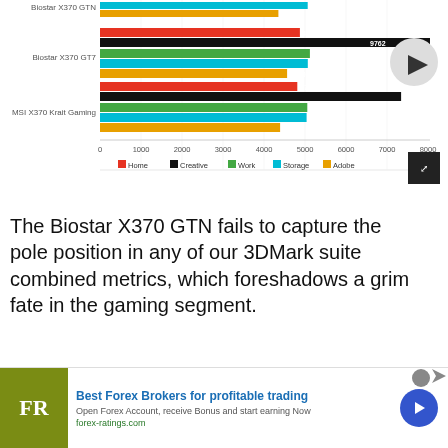[Figure (grouped-bar-chart): PCMark 7 (higher is better)]
The Biostar X370 GTN fails to capture the pole position in any of our 3DMark suite combined metrics, which foreshadows a grim fate in the gaming segment.
3DMark Skydiver
Default settings
1280x720: 3DMarks (higher is better)
[Figure (infographic): Advertisement banner: Best Forex Brokers for profitable trading - forex-ratings.com]